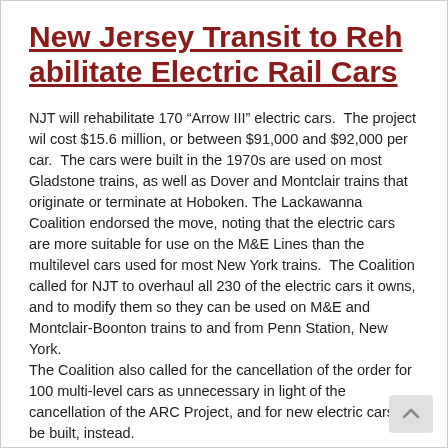New Jersey Transit to Rehabilitate Electric Rail Cars
NJT will rehabilitate 170 “Arrow III” electric cars.  The project wil cost $15.6 million, or between $91,000 and $92,000 per car.  The cars were built in the 1970s are used on most Gladstone trains, as well as Dover and Montclair trains that originate or terminate at Hoboken. The Lackawanna Coalition endorsed the move, noting that the electric cars are more suitable for use on the M&E Lines than the multilevel cars used for most New York trains.  The Coalition called for NJT to overhaul all 230 of the electric cars it owns, and to modify them so they can be used on M&E and Montclair-Boonton trains to and from Penn Station, New York.
The Coalition also called for the cancellation of the order for 100 multi-level cars as unnecessary in light of the cancellation of the ARC Project, and for new electric cars to be built, instead.